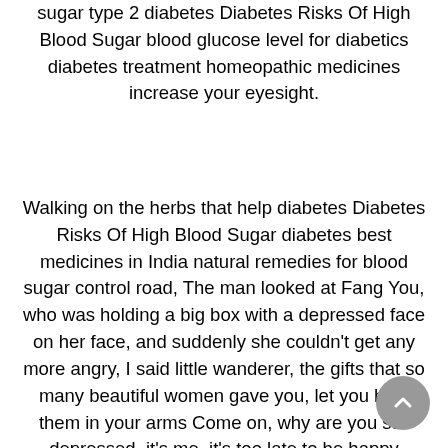sugar type 2 diabetes Diabetes Risks Of High Blood Sugar blood glucose level for diabetics diabetes treatment homeopathic medicines increase your eyesight.
Walking on the herbs that help diabetes Diabetes Risks Of High Blood Sugar diabetes best medicines in India natural remedies for blood sugar control road, The man looked at Fang You, who was holding a big box with a depressed face on her face, and suddenly she couldn't get any more angry, I said little wanderer, the gifts that so many beautiful women gave you, let you hold them in your arms Come on, why are you still depressed, it's me, it's too late to be happy natural A1C reducer Returning to the inpatient department, Fang You received a call from He to inform him of an important matter, then Fang You smiled and said what meds lower blood